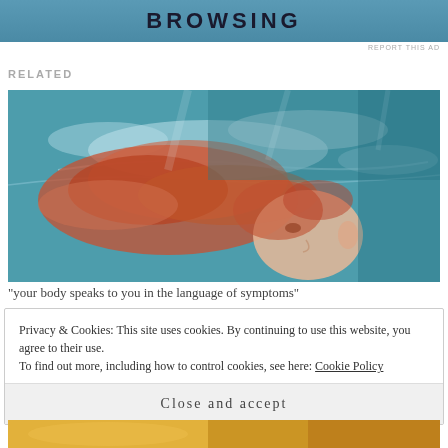[Figure (other): Advertisement banner with 'BROWSING' text in dark bold letters on blue gradient background]
REPORT THIS AD
RELATED
[Figure (photo): Underwater photograph of a girl with red/auburn hair floating beneath the water surface, teal blue water with light reflections]
“your body speaks to you in the language of symptoms”
Privacy & Cookies: This site uses cookies. By continuing to use this website, you agree to their use. To find out more, including how to control cookies, see here: Cookie Policy
Close and accept
[Figure (photo): Partial view of another photo at the bottom, warm yellow/golden tones]